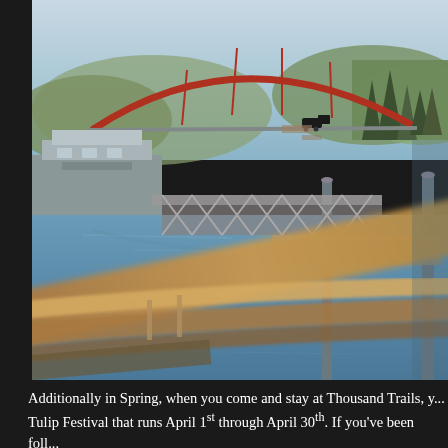[Figure (photo): Waterfront dock scene with a red arch bridge in the background, calm blue water reflecting dock pilings and a metal gangway structure, a houseboat on the left, and trees on distant hills. A wooden railing runs diagonally in the foreground. Small vehicle/RV icon visible on the bridge.]
Additionally in Spring, when you come and stay at Thousand Trails, y... Tulip Festival that runs April 1st through April 30th. If you've been foll...